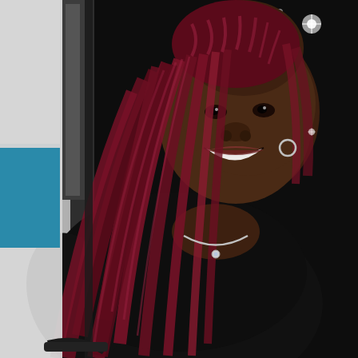[Figure (photo): A woman with long dark red/maroon braided hair smiling at the camera. She is wearing a black long-sleeve top and a silver necklace with a small pendant. She has silver hoop earrings. The background shows a dark interior with a white wall on the left side, a teal/blue element, and what appears to be a metallic door or frame behind her.]